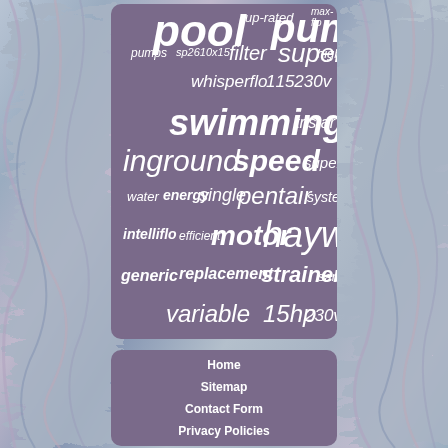[Figure (infographic): Word cloud on purple rounded rectangle background with marbled border. Words related to pool pumps: pool, up-rated, pump, max-flo, pumps, sp2610x15, filter, super, high, whisperflo, 115230v, swimming, tristar, inground, speed, superflo, water, energy, single, pentair, system, intelliflo, efficient, motor, hayward, generic, replacement, strainer, sand, variable, 15hp, 230v]
Home
Sitemap
Contact Form
Privacy Policies